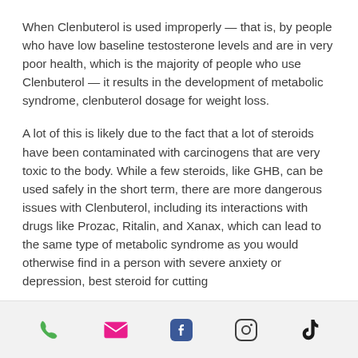When Clenbuterol is used improperly — that is, by people who have low baseline testosterone levels and are in very poor health, which is the majority of people who use Clenbuterol — it results in the development of metabolic syndrome, clenbuterol dosage for weight loss.
A lot of this is likely due to the fact that a lot of steroids have been contaminated with carcinogens that are very toxic to the body. While a few steroids, like GHB, can be used safely in the short term, there are more dangerous issues with Clenbuterol, including its interactions with drugs like Prozac, Ritalin, and Xanax, which can lead to the same type of metabolic syndrome as you would otherwise find in a person with severe anxiety or depression, best steroid for cutting
Phone | Email | Facebook | Instagram | TikTok